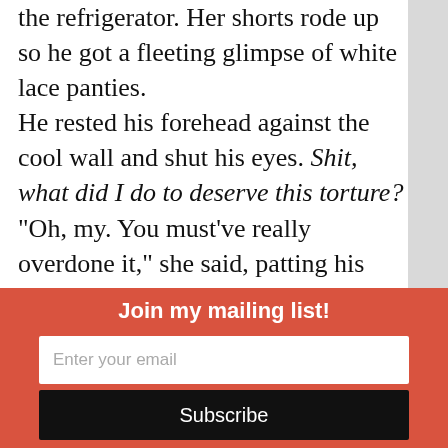the refrigerator. Her shorts rode up so he got a fleeting glimpse of white lace panties.
He rested his forehead against the cool wall and shut his eyes. Shit, what did I do to deserve this torture?
“Oh, my. You must’ve really overdone it,” she said, patting his arm as she brushed by him.
Boone opened one eye to squint at her. She poured lemonade into two tall glasses, ice cubes clinking faintly, her movements efficient. When she
Join my mailing list!
Enter your email
Subscribe